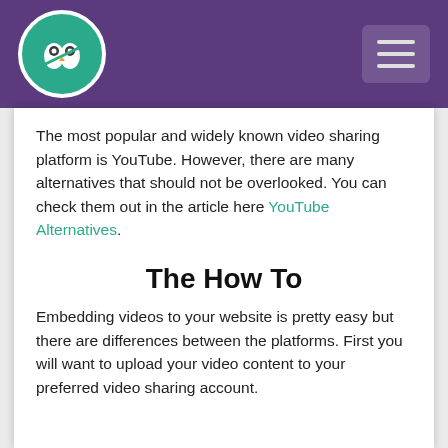[Logo and navigation header bar]
The most popular and widely known video sharing platform is YouTube. However, there are many alternatives that should not be overlooked. You can check them out in the article here YouTube Alternatives.
The How To
Embedding videos to your website is pretty easy but there are differences between the platforms. First you will want to upload your video content to your preferred video sharing account.